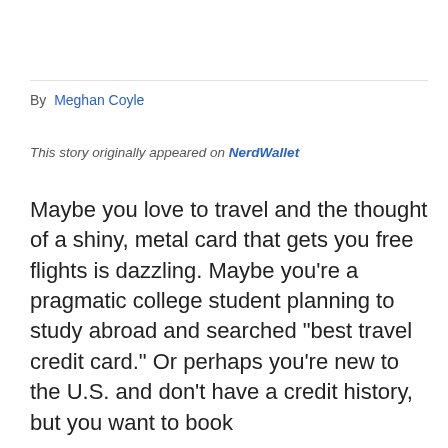By  Meghan Coyle
This story originally appeared on NerdWallet
Maybe you love to travel and the thought of a shiny, metal card that gets you free flights is dazzling. Maybe you’re a pragmatic college student planning to study abroad and searched “best travel credit card.” Or perhaps you’re new to the U.S. and don’t have a credit history, but you want to book